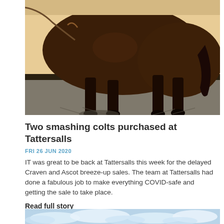[Figure (photo): A dark bay/brown horse standing on a paved surface with shadows, against a cream/yellow wall background. The photo shows the horse from the body down — legs, torso, and tail visible. A rope/lead attached.]
Two smashing colts purchased at Tattersalls
FRI 26 JUN 2020
IT was great to be back at Tattersalls this week for the delayed Craven and Ascot breeze-up sales. The team at Tattersalls had done a fabulous job to make everything COVID-safe and getting the sale to take place.
Read full story
[Figure (photo): Partial view of a light blue sky with clouds — bottom portion of page, cropped.]